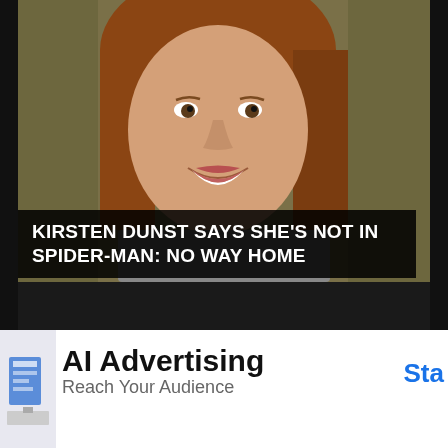[Figure (photo): Young woman with short reddish-brown hair smiling, photographed in a film/entertainment context]
KIRSTEN DUNST SAYS SHE'S NOT IN SPIDER-MAN: NO WAY HOME
Kirsten Dunst not in No Way Home
FILM
12 NOV
[Figure (screenshot): AI Advertising banner ad with text 'AI Advertising - Reach Your Audience' and blue 'Sta' button (truncated)]